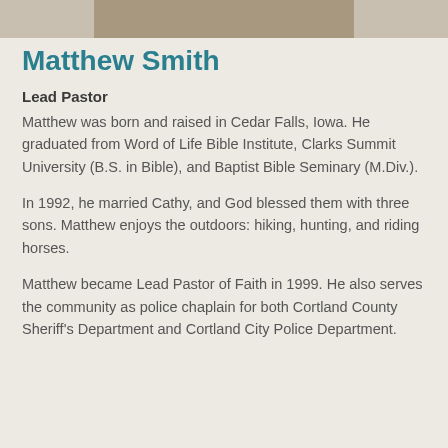[Figure (photo): Partial photo strip at top of page showing an outdoor scene]
Matthew Smith
Lead Pastor
Matthew was born and raised in Cedar Falls, Iowa. He graduated from Word of Life Bible Institute, Clarks Summit University (B.S. in Bible), and Baptist Bible Seminary (M.Div.).
In 1992, he married Cathy, and God blessed them with three sons. Matthew enjoys the outdoors: hiking, hunting, and riding horses.
Matthew became Lead Pastor of Faith in 1999. He also serves the community as police chaplain for both Cortland County Sheriff's Department and Cortland City Police Department.